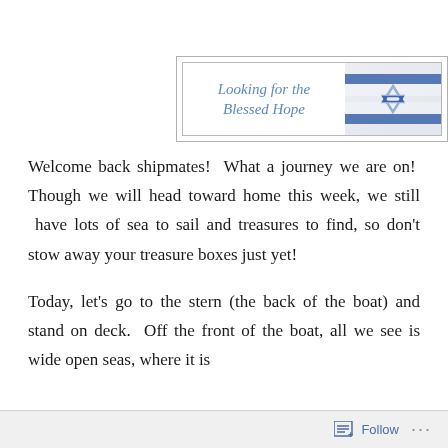[Figure (illustration): Blog header banner reading 'Looking for the Blessed Hope' in italic blue script on left, with an Israeli flag photograph on the right, enclosed in a double-bordered rectangle.]
Welcome back shipmates!  What a journey we are on!  Though we will head toward home this week, we still  have lots of sea to sail and treasures to find, so don't stow away your treasure boxes just yet!
Today, let's go to the stern (the back of the boat) and stand on deck.  Off the front of the boat, all we see is wide open seas, where it is
Follow